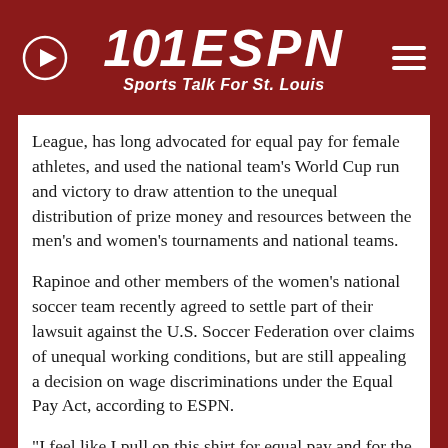101 ESPN — Sports Talk For St. Louis
League, has long advocated for equal pay for female athletes, and used the national team's World Cup run and victory to draw attention to the unequal distribution of prize money and resources between the men's and women's tournaments and national teams.
Rapinoe and other members of the women's national soccer team recently agreed to settle part of their lawsuit against the U.S. Soccer Federation over claims of unequal working conditions, but are still appealing a decision on wage discriminations under the Equal Pay Act, according to ESPN.
"I feel like I pull on this shirt for equal pay and for the fans and for kids who want to be in my position," she